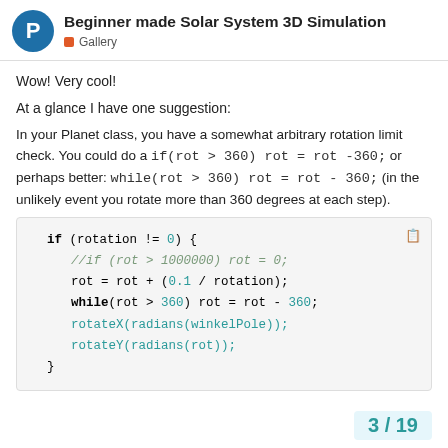Beginner made Solar System 3D Simulation — Gallery
Wow! Very cool!
At a glance I have one suggestion:
In your Planet class, you have a somewhat arbitrary rotation limit check. You could do a if(rot > 360) rot = rot -360; or perhaps better: while(rot > 360) rot = rot -360; (in the unlikely event you rotate more than 360 degrees at each step).
[Figure (screenshot): Code block showing if/while rotation logic in Processing/Java style code]
3 / 19